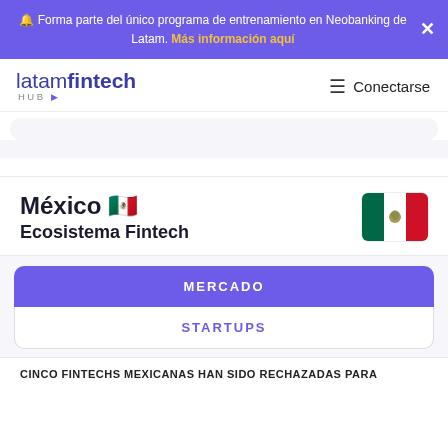🔔 Forma parte del único programa de entrenamiento en Neobanking de Latam. Más información aquí
[Figure (logo): latamfintech HUB logo in purple and dark navy]
≡ Conectarse
México 🇲🇽
Ecosistema Fintech
[Figure (illustration): Mexican flag emoji/icon]
MERCADO
STARTUPS
CINCO FINTECHS MEXICANAS HAN SIDO RECHAZADAS PARA